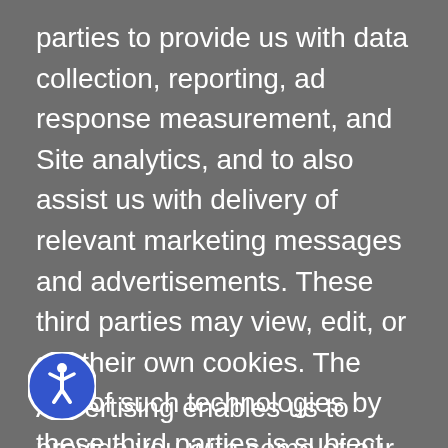parties to provide us with data collection, reporting, ad response measurement, and Site analytics, and to also assist us with delivery of relevant marketing messages and advertisements. These third parties may view, edit, or set their own cookies. The use of such technologies by these third parties is subject to their own privacy policies and is not covered by this privacy notice.
Advertising enables us to provide you with some of our content. Our goal is to deliver advertising that is relevant to you. As part of this process we, our third party service providers, advertisers, advertising networks
[Figure (illustration): Blue circular accessibility icon showing a person figure (wheelchair accessibility symbol) with white background]